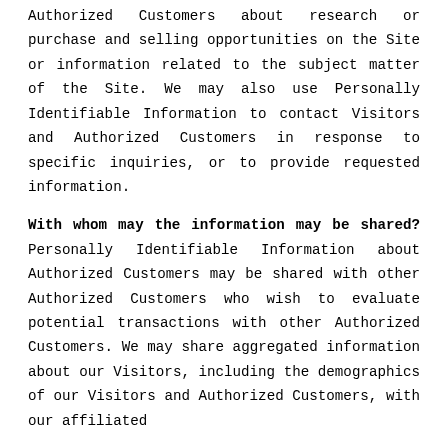Authorized Customers about research or purchase and selling opportunities on the Site or information related to the subject matter of the Site. We may also use Personally Identifiable Information to contact Visitors and Authorized Customers in response to specific inquiries, or to provide requested information.
With whom may the information may be shared? Personally Identifiable Information about Authorized Customers may be shared with other Authorized Customers who wish to evaluate potential transactions with other Authorized Customers. We may share aggregated information about our Visitors, including the demographics of our Visitors and Authorized Customers, with our affiliated